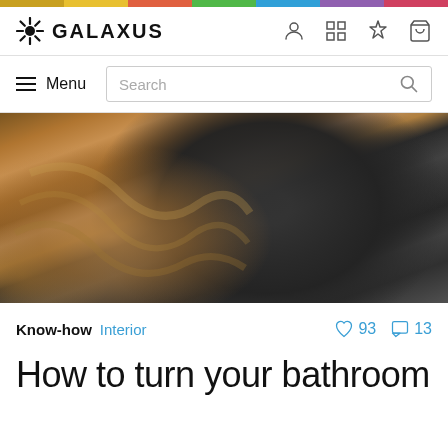GALAXUS
[Figure (screenshot): Galaxus website header with logo, navigation icons (user, grid, pin, cart), hamburger menu, and search bar]
[Figure (photo): Close-up photo of a hand wrapped in rope or braided material holding a dark cylindrical pipe or rod]
Know-how  Interior  ♡ 93  □ 13
How to turn your bathroom